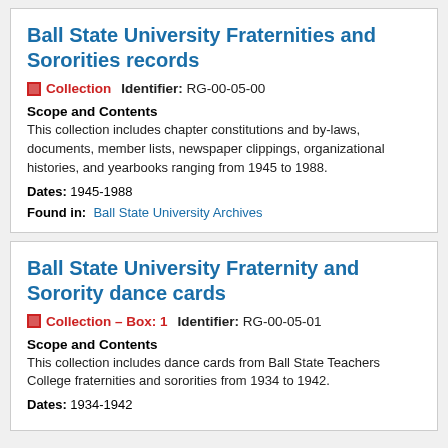Ball State University Fraternities and Sororities records
Collection   Identifier: RG-00-05-00
Scope and Contents
This collection includes chapter constitutions and by-laws, documents, member lists, newspaper clippings, organizational histories, and yearbooks ranging from 1945 to 1988.
Dates: 1945-1988
Found in:  Ball State University Archives
Ball State University Fraternity and Sorority dance cards
Collection – Box: 1   Identifier: RG-00-05-01
Scope and Contents
This collection includes dance cards from Ball State Teachers College fraternities and sororities from 1934 to 1942.
Dates: 1934-1942